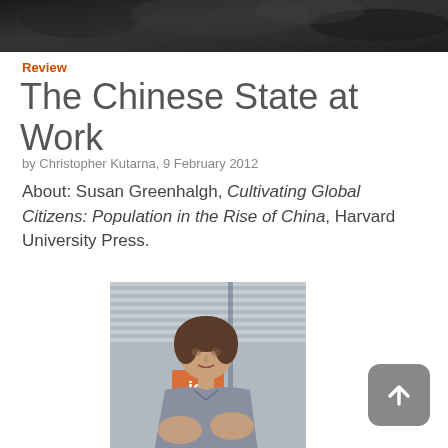[Figure (photo): Dark textured banner/header image at top of page]
Review
The Chinese State at Work
by Christopher Kutarna, 9 February 2012
About: Susan Greenhalgh, Cultivating Global Citizens: Population in the Rise of China, Harvard University Press.
[Figure (photo): Photograph of Susan Greenhalgh speaking, gesturing with hands, with window blinds in background]
[Figure (other): Scroll-to-top button icon with upward arrow]